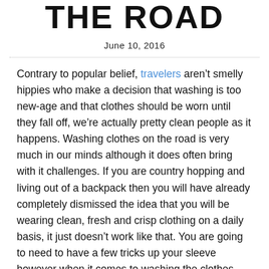THE ROAD
June 10, 2016
Contrary to popular belief, travelers aren't smelly hippies who make a decision that washing is too new-age and that clothes should be worn until they fall off, we're actually pretty clean people as it happens. Washing clothes on the road is very much in our minds although it does often bring with it challenges. If you are country hopping and living out of a backpack then you will have already completely dismissed the idea that you will be wearing clean, fresh and crisp clothing on a daily basis, it just doesn't work like that. You are going to need to have a few tricks up your sleeve however when it comes to washing the clothes and here are some of the ways that I keep my threads clean